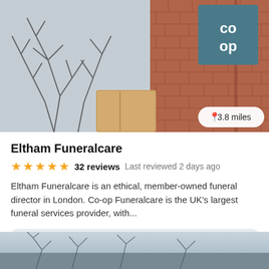[Figure (photo): Exterior photo of Co-op Funeralcare Eltham, showing brick wall with Co-op sign and bare winter trees]
Eltham Funeralcare
★★★★★  32 reviews  Last reviewed 2 days ago
Eltham Funeralcare is an ethical, member-owned funeral director in London. Co-op Funeralcare is the UK's largest funeral services provider, with...
£2,965 estimate
View details
[Figure (photo): Partial photo of another funeral home exterior with bare winter trees and grey sky]